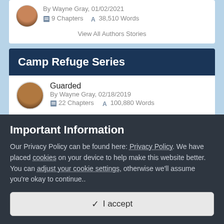By Wayne Gray, 01/02/2021
9 Chapters   38,510 Words
View All Authors Stories
Camp Refuge Series
Guarded
By Wayne Gray, 02/18/2019
22 Chapters   100,880 Words
Camp Refuge
Important Information
Our Privacy Policy can be found here: Privacy Policy. We have placed cookies on your device to help make this website better. You can adjust your cookie settings, otherwise we'll assume you're okay to continue..
✔ I accept